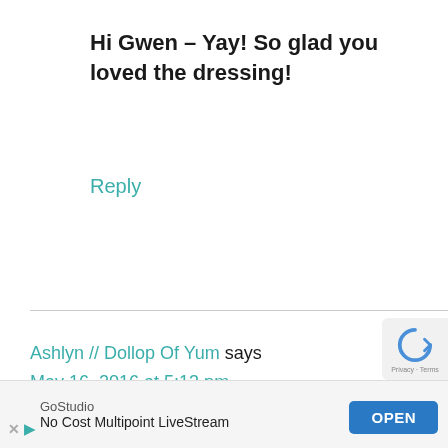Hi Gwen – Yay! So glad you loved the dressing!
Reply
Ashlyn // Dollop Of Yum says
May 16, 2016 at 5:13 pm
I love salad and this looks fantastic! The homemade croutons look absolutely fantastic! I have never gotten around to making them
[Figure (screenshot): Ad banner: GoStudio – No Cost Multipoint LiveStream with OPEN button]